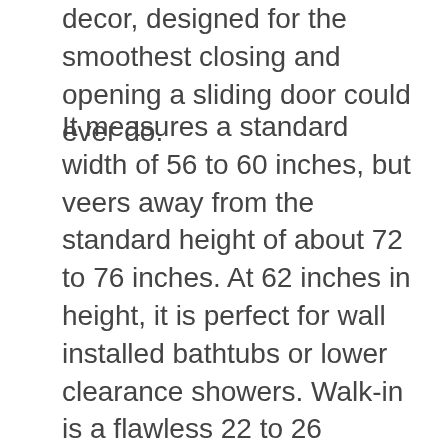decor, designed for the smoothest closing and opening a sliding door could ever do.
It measures a standard width of 56 to 60 inches, but veers away from the standard height of about 72 to 76 inches. At 62 inches in height, it is perfect for wall installed bathtubs or lower clearance showers. Walk-in is a flawless 22 to 26 inches, which makes for an easy slide in or out. The fully stainless top guide bar can also be cut back up to four (4) inches for just the perfect fit. All other hardware materials are made of the same high quality brushed nickel stainless steel, allowing for a smooth and effortless door slid.